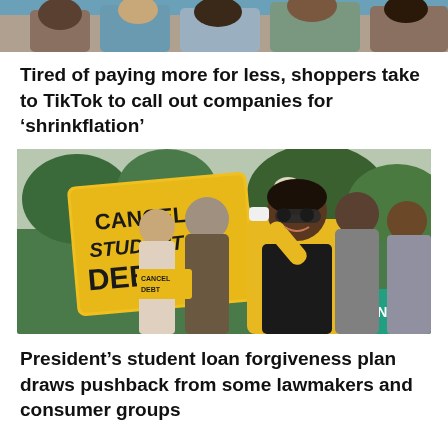[Figure (photo): Top cropped photo of people, partially visible at the top of the page]
Tired of paying more for less, shoppers take to TikTok to call out companies for ‘shrinkflation’
[Figure (photo): Protest photo showing a person in a yellow jacket holding a yellow sign reading 'CANCEL STUDENT DEBT' (NAACP), surrounded by other protesters, with green trees and brick buildings in the background]
President’s student loan forgiveness plan draws pushback from some lawmakers and consumer groups